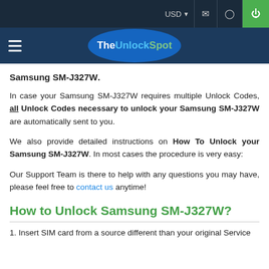USD [dropdown] [mail icon] [location icon] [power icon]
TheUnlockSpot
Samsung SM-J327W.
In case your Samsung SM-J327W requires multiple Unlock Codes, all Unlock Codes necessary to unlock your Samsung SM-J327W are automatically sent to you.
We also provide detailed instructions on How To Unlock your Samsung SM-J327W. In most cases the procedure is very easy:
Our Support Team is there to help with any questions you may have, please feel free to contact us anytime!
How to Unlock Samsung SM-J327W?
1. Insert SIM card from a source different than your original Service